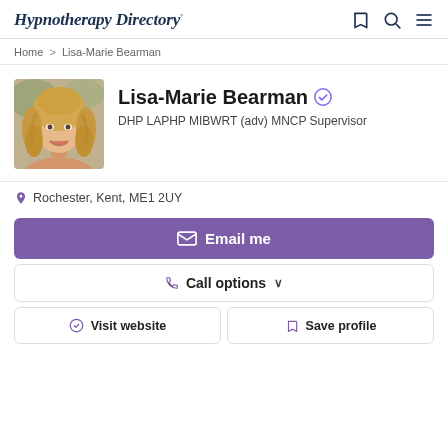Hypnotherapy Directory
Home > Lisa-Marie Bearman
[Figure (photo): Profile photo of Lisa-Marie Bearman, a woman with long blonde curly hair, smiling]
Lisa-Marie Bearman
DHP LAPHP MIBWRT (adv) MNCP Supervisor
Rochester, Kent, ME1 2UY
Email me
Call options
Visit website
Save profile